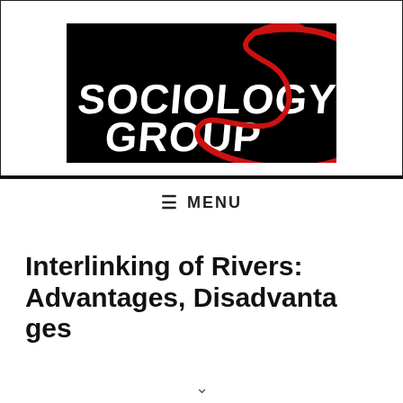[Figure (logo): Sociology Group logo: white brush-script text 'SOCIOLOGY GROUP' on black background with a red hand-drawn circular swirl around the right side]
≡ MENU
Interlinking of Rivers: Advantages, Disadvantages…